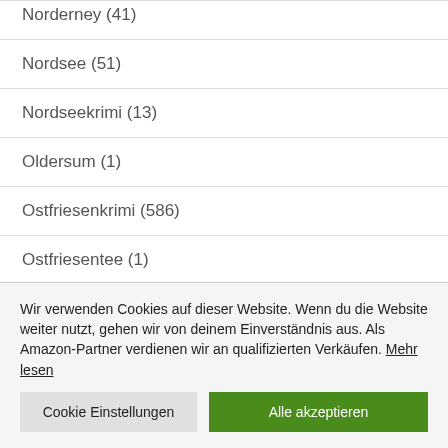Norderney (41)
Nordsee (51)
Nordseekrimi (13)
Oldersum (1)
Ostfriesenkrimi (586)
Ostfriesentee (1)
Wir verwenden Cookies auf dieser Website. Wenn du die Website weiter nutzt, gehen wir von deinem Einverständnis aus. Als Amazon-Partner verdienen wir an qualifizierten Verkäufen. Mehr lesen
Cookie Einstellungen | Alle akzeptieren